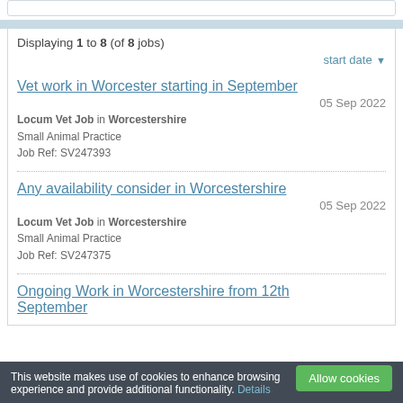Displaying 1 to 8 (of 8 jobs)
start date ▼
Vet work in Worcester starting in September
05 Sep 2022
Locum Vet Job in Worcestershire
Small Animal Practice
Job Ref: SV247393
Any availability consider in Worcestershire
05 Sep 2022
Locum Vet Job in Worcestershire
Small Animal Practice
Job Ref: SV247375
Ongoing Work in Worcestershire from 12th September
This website makes use of cookies to enhance browsing experience and provide additional functionality. Details Allow cookies